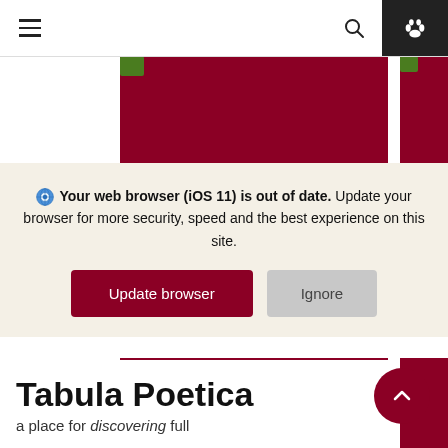Navigation bar with hamburger menu, search icon, and paw icon
[Figure (screenshot): Crimson red card image partially visible at top, with small green sticker icon in upper-left corner]
Your web browser (iOS 11) is out of date. Update your browser for more security, speed and the best experience on this site.
Update browser | Ignore
[Figure (screenshot): Crimson red card with white bold text reading 'Poetry Reading Series']
Tabula Poetica
a place for discovering full